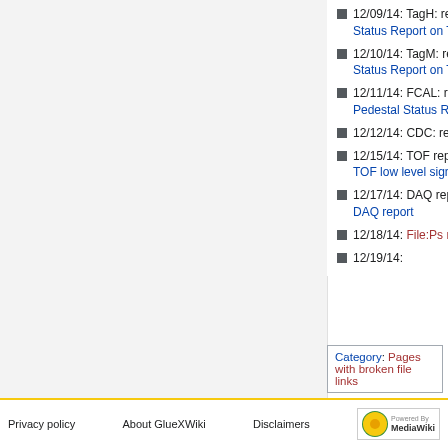12/09/14: TagH: report (Nathan Sparks) Status Report on TAGH Commissioning
12/10/14: TagM: report (Richard Jones) Status Report on TAGM Commissioning, part 2
12/11/14: FCAL: report (Matt Shepherd) Pedestal Status Report
12/12/14: CDC: report (Mike) CDC Status Update
12/15/14: TOF report ( Alex. Ostrovidov) TOF low level signals
12/17/14: DAQ report (Sergei Furletov) DAQ report
12/18/14: File:Ps report.pptx Pair Spectrometer report (Alex. Somov)
12/19/14:
Category:  Pages with broken file links
Privacy policy    About GlueXWiki    Disclaimers    Powered By MediaWiki